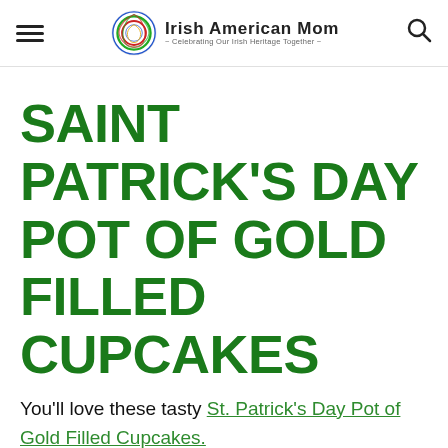Irish American Mom - Celebrating Our Irish Heritage Together
SAINT PATRICK'S DAY POT OF GOLD FILLED CUPCAKES
You'll love these tasty St. Patrick's Day Pot of Gold Filled Cupcakes.
And best of all they're gluten fre...